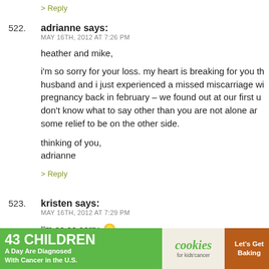> Reply
522. adrianne says: MAY 16TH, 2012 AT 7:26 PM

heather and mike,

i'm so sorry for your loss. my heart is breaking for you th... husband and i just experienced a missed miscarriage wi... pregnancy back in february – we found out at our first u... don't know what to say other than you are not alone ar... some relief to be on the other side.

thinking of you,
adrienne

> Reply
523. kristen says: MAY 16TH, 2012 AT 7:29 PM

I'm so so sorry. :(

> Reply
[Figure (screenshot): Advertisement banner: '43 CHILDREN A Day Are Diagnosed With Cancer in the U.S.' with cookies for kids' cancer and Let's Get Baking]